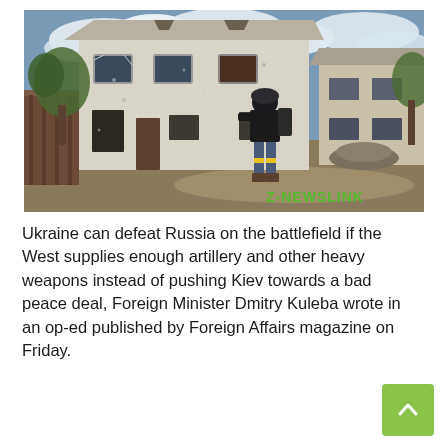[Figure (photo): A soldier in black tactical gear and helmet walks past a war-damaged white two-story building with bullet holes and blown-out windows. The scene is outdoors with trees and cloudy sky. A watermark reads 'Z-NEWSLINK' in green text at the bottom right.]
Ukraine can defeat Russia on the battlefield if the West supplies enough artillery and other heavy weapons instead of pushing Kiev towards a bad peace deal, Foreign Minister Dmitry Kuleba wrote in an op-ed published by Foreign Affairs magazine on Friday.